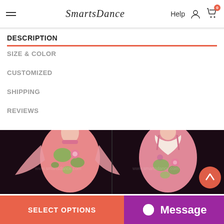SmartsDance | Help
DESCRIPTION
SIZE & COLOR
CUSTOMIZED
SHIPPING
REVIEWS
[Figure (photo): Front and back view of a pink floral ballroom dance dress with flowing sleeves and green floral pattern on a mannequin, dark background.]
SELECT OPTIONS
Message